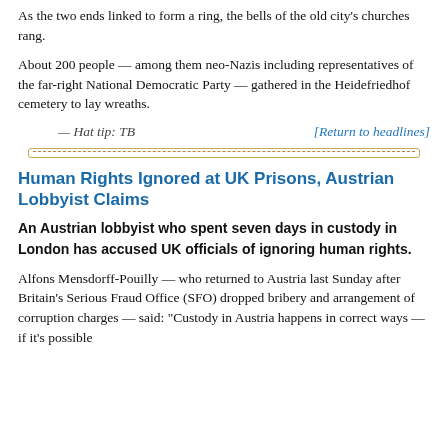As the two ends linked to form a ring, the bells of the old city's churches rang.
About 200 people — among them neo-Nazis including representatives of the far-right National Democratic Party — gathered in the Heidefriedhof cemetery to lay wreaths.
— Hat tip: TB	[Return to headlines]
[Figure (other): Decorative horizontal dashed divider line with border]
Human Rights Ignored at UK Prisons, Austrian Lobbyist Claims
An Austrian lobbyist who spent seven days in custody in London has accused UK officials of ignoring human rights.
Alfons Mensdorff-Pouilly — who returned to Austria last Sunday after Britain's Serious Fraud Office (SFO) dropped bribery and arrangement of corruption charges — said: "Custody in Austria happens in correct ways — if it's possible